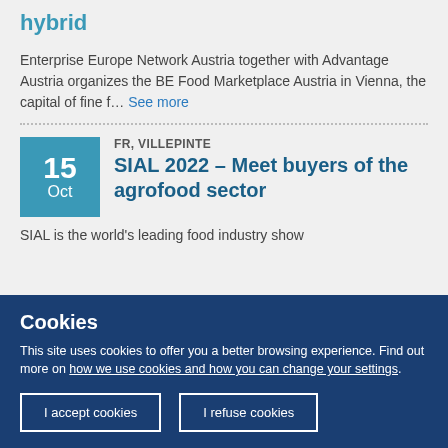hybrid
Enterprise Europe Network Austria together with Advantage Austria organizes the BE Food Marketplace Austria in Vienna, the capital of fine f... See more
FR, VILLEPINTE
SIAL 2022 – Meet buyers of the agrofood sector
SIAL is the world's leading food industry show
Cookies
This site uses cookies to offer you a better browsing experience. Find out more on how we use cookies and how you can change your settings.
I accept cookies
I refuse cookies